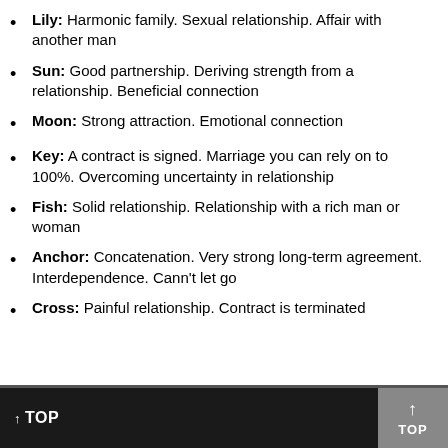Lily: Harmonic family. Sexual relationship. Affair with another man
Sun: Good partnership. Deriving strength from a relationship. Beneficial connection
Moon: Strong attraction. Emotional connection
Key: A contract is signed. Marriage you can rely on to 100%. Overcoming uncertainty in relationship
Fish: Solid relationship. Relationship with a rich man or woman
Anchor: Concatenation. Very strong long-term agreement. Interdependence. Cann't let go
Cross: Painful relationship. Contract is terminated
↑ TOP